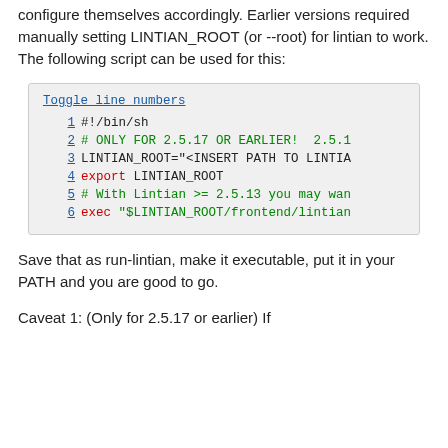configure themselves accordingly. Earlier versions required manually setting LINTIAN_ROOT (or --root) for lintian to work. The following script can be used for this:
[Figure (screenshot): Code block showing a shell script with 6 numbered lines. Line 1: #!/bin/sh, Line 2: # ONLY FOR 2.5.17 OR EARLIER! 2.5.1, Line 3: LINTIAN_ROOT="<INSERT PATH TO LINTIA, Line 4: export LINTIAN_ROOT, Line 5: # With Lintian >= 2.5.13 you may wan, Line 6: exec "$LINTIAN_ROOT/frontend/lintian]
Save that as run-lintian, make it executable, put it in your PATH and you are good to go.
Caveat 1: (Only for 2.5.17 or earlier) If